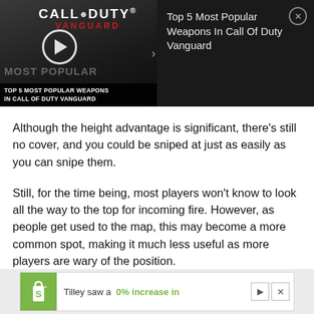[Figure (screenshot): Video thumbnail and info panel for 'Top 5 Most Popular Weapons In Call Of Duty Vanguard'. Left side shows a dark Call of Duty Vanguard game thumbnail with logo, play button, and text 'TOP 5 MOST POPULAR WEAPONS IN CALL OF DUTY VANGUARD'. Right side shows the video title on a dark background with a close button.]
Although the height advantage is significant, there’s still no cover, and you could be sniped at just as easily as you can snipe them.
Still, for the time being, most players won’t know to look all the way to the top for incoming fire. However, as people get used to the map, this may become a more common spot, making it much less useful as more players are wary of the position.
[Figure (screenshot): Advertisement banner for Shopify showing the Shopify logo (shopping bag with 'S'), text 'Tilley saw a 0% increase in' with highlighted green text, and ad control buttons.]